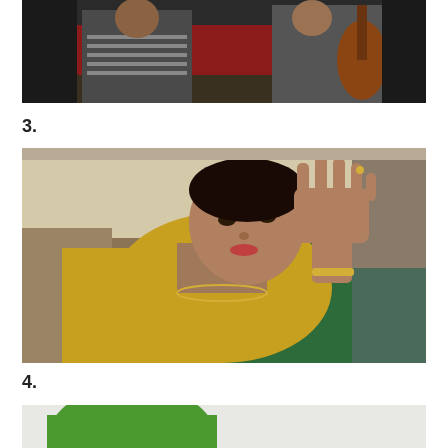[Figure (photo): Two young people sitting in a room with a red sofa; one on the left in a striped shirt, one on the right playing a stringed instrument (sitar/guitar)]
3.
[Figure (photo): An older Indian woman in a golden/green saree with a red bindi, raising her right hand with open palm, wearing a bracelet; seated in a chair]
4.
[Figure (photo): Partial view of a photo showing what appears to be a green object, cropped at the bottom of the page]